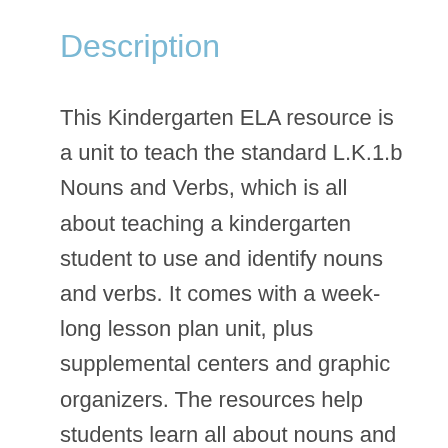Description
This Kindergarten ELA resource is a unit to teach the standard L.K.1.b Nouns and Verbs, which is all about teaching a kindergarten student to use and identify nouns and verbs. It comes with a week-long lesson plan unit, plus supplemental centers and graphic organizers. The resources help students learn all about nouns and verbs.